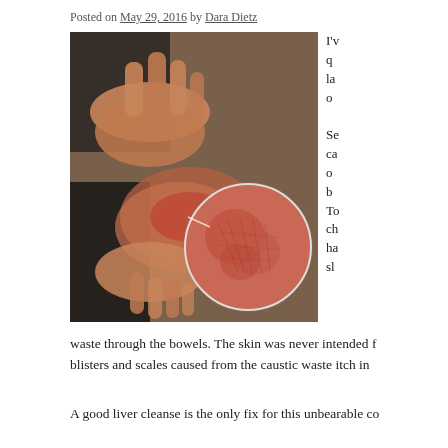Posted on May 29, 2016 by Dara Dietz
[Figure (photo): Close-up photograph of hands scratching irritated, red skin on a wrist/forearm, with a circular magnified inset showing the inflamed, scaly skin texture in detail.]
I'v q la o Se ca o b To ch ha sl
waste through the bowels. The skin was never intended f blisters and scales caused from the caustic waste itch in
A good liver cleanse is the only fix for this unbearable co